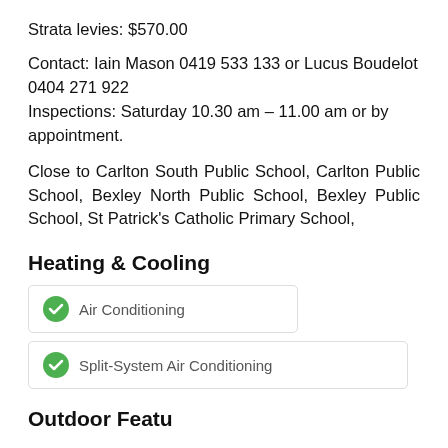Strata levies: $570.00
Contact: Iain Mason 0419 533 133 or Lucus Boudelot 0404 271 922
Inspections: Saturday 10.30 am – 11.00 am or by appointment.
Close to Carlton South Public School, Carlton Public School, Bexley North Public School, Bexley Public School, St Patrick's Catholic Primary School,
Heating & Cooling
Air Conditioning
Split-System Air Conditioning
Outdoor Features